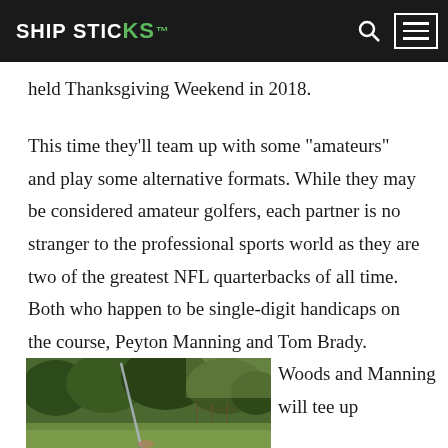SHIP STICKS
held Thanksgiving Weekend in 2018.
This time they’ll team up with some “amateurs” and play some alternative formats. While they may be considered amateur golfers, each partner is no stranger to the professional sports world as they are two of the greatest NFL quarterbacks of all time.  Both who happen to be single-digit handicaps on the course, Peyton Manning and Tom Brady.
[Figure (photo): Golf course photo showing a golf club/iron with green trees in background]
Woods and Manning will tee up